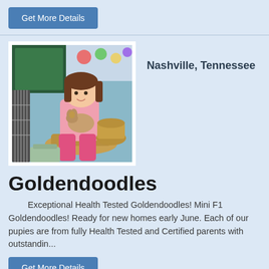Get More Details
[Figure (photo): A young girl with long brown hair sitting on a wicker chair, holding a small puppy, surrounded by pet supplies and baskets in a colorful room.]
Nashville, Tennessee
Goldendoodles
Exceptional Health Tested Goldendoodles! Mini F1 Goldendoodles! Ready for new homes early June. Each of our pupies are from fully Health Tested and Certified parents with outstandin...
Get More Details